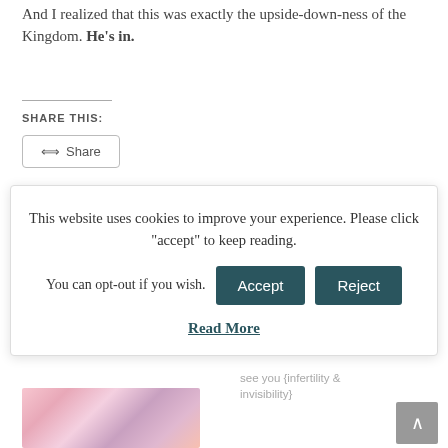And I realized that this was exactly the upside-down-ness of the Kingdom. He's in.
SHARE THIS:
[Figure (screenshot): Share button with share icon]
This website uses cookies to improve your experience. Please click "accept" to keep reading. You can opt-out if you wish. [Accept] [Reject] Read More
see you {infertility & invisibility}
[Figure (photo): Colorful photo showing a person with colorful scarves or clothing in pink, red, and multicolor tones]